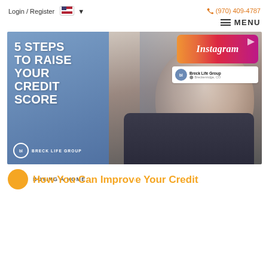Login / Register   🇺🇸 ▾   📞 (970) 409-4787
≡ MENU
[Figure (photo): Promotional image for '5 Steps to Raise Your Credit Score' by Breck Life Group. Shows white bold text on blue background on left, man with grey hair on right, with an Instagram overlay in the top right corner.]
BUYING A HOME
How You Can Improve Your Credit